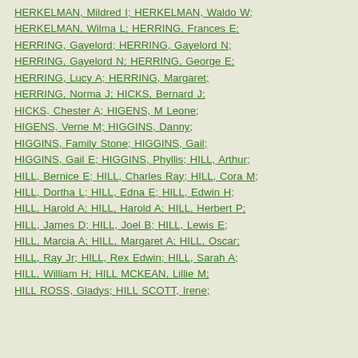HERKELMAN, Mildred I; HERKELMAN, Waldo W; HERKELMAN, Wilma L; HERRING, Frances E; HERRING, Gayelord; HERRING, Gayelord N; HERRING, Gayelord N; HERRING, George E; HERRING, Lucy A; HERRING, Margaret; HERRING, Norma J; HICKS, Bernard J; HICKS, Chester A; HIGENS, M Leone; HIGENS, Verne M; HIGGINS, Danny; HIGGINS, Family Stone; HIGGINS, Gail; HIGGINS, Gail E; HIGGINS, Phyllis; HILL, Arthur; HILL, Bernice E; HILL, Charles Ray; HILL, Cora M; HILL, Dortha L; HILL, Edna E; HILL, Edwin H; HILL, Harold A; HILL, Harold A; HILL, Herbert P; HILL, James D; HILL, Joel B; HILL, Lewis E; HILL, Marcia A; HILL, Margaret A; HILL, Oscar; HILL, Ray Jr; HILL, Rex Edwin; HILL, Sarah A; HILL, William H; HILL MCKEAN, Lillie M; HILL ROSS, Gladys; HILL SCOTT, Irene;